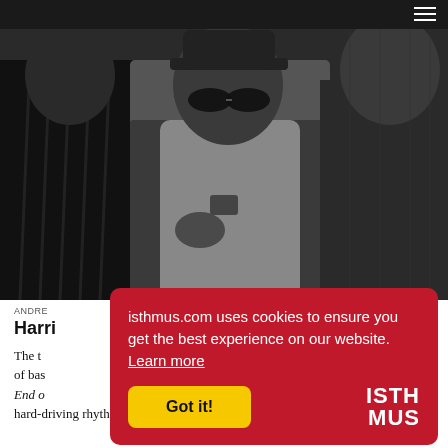Navigation bar with hamburger menu
[Figure (photo): Black and white photo of three people, center person wearing sunglasses and a hoodie under a blazer, looking down; person on left has braids, person on right wears dark clothing. Indoor setting.]
ANDRE...
Harri...
The t... of bas... End o... hard-driving rhythms colliding with futuristic guitar meltdowns
isthmus.com uses cookies to ensure you get the best experience on our website. Learn more
Got it!
ISTHMUS